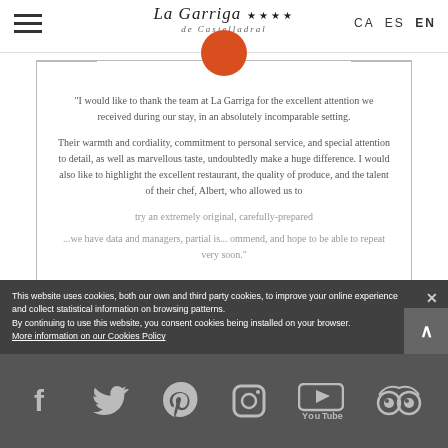La Garriga **** de Castelladral — CA ES EN
[Figure (illustration): Orange circle partially visible at top center, above quote box]
"I would like to thank the team at La Garriga for the excellent attention we received during our stay, in an absolutely incomparable setting.

Their warmth and cordiality, commitment to personal service, and special attention to detail, as well as marvellous taste, undoubtedly make a huge difference. I would also like to highlight the excellent restaurant, the quality of produce, and the talent of their chef, Albert, who allowed us to try an extremely original, carefully-prepared...

...we have data and managers, partial is... recommend, and hope to be able to repeat very soon."
This website uses cookies, both our own and third party cookies, to improve your online experience and collect statistical information on browsing patterns.
By continuing to use this website, you consent cookies being installed on your browser.
More information on our Cookies Policy
[Figure (illustration): Social media footer with icons for Facebook, Twitter, Pinterest, Instagram, YouTube, and TripAdvisor on dark grey background]